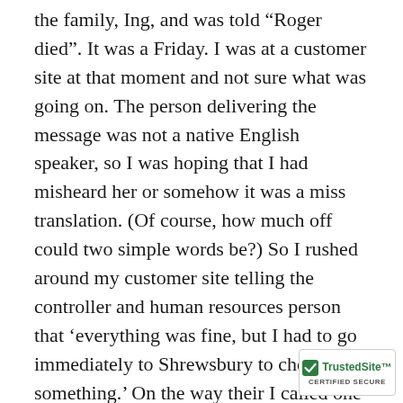the family, Ing, and was told “Roger died”. It was a Friday. I was at a customer site at that moment and not sure what was going on. The person delivering the message was not a native English speaker, so I was hoping that I had misheard her or somehow it was a miss translation. (Of course, how much off could two simple words be?) So I rushed around my customer site telling the controller and human resources person that ‘everything was fine, but I had to go immediately to Shrewsbury to check on something.’ On the way their I called one of my classmates, who was an attorney in Massachusetts at the time, and put him on standby in case a lawyer would be needed
[Figure (logo): TrustedSite certified secure badge with green checkmark]